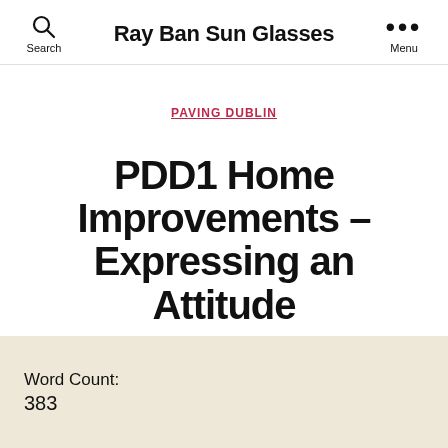Ray Ban Sun Glasses
PAVING DUBLIN
PDD1 Home Improvements – Expressing an Attitude
By Nathan Cox  March 27, 2022
Word Count:
383